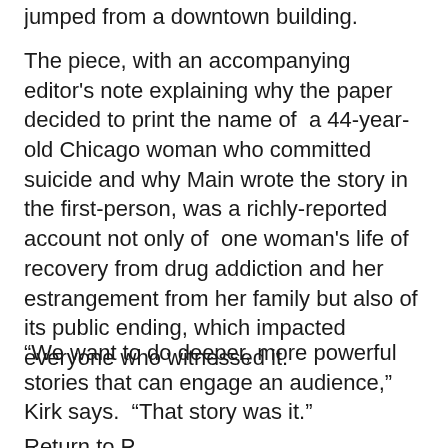jumped from a downtown building.
The piece, with an accompanying editor's note explaining why the paper decided to print the name of a 44-year-old Chicago woman who committed suicide and why Main wrote the story in the first-person, was a richly-reported account not only of one woman's life of recovery from drug addiction and her estrangement from her family but also of its public ending, which impacted everyone who witnessed it.
“We want to do deeper, more powerful stories that can engage an audience,” Kirk says. “That story was it.”
Return to Reporting from a downtown building.